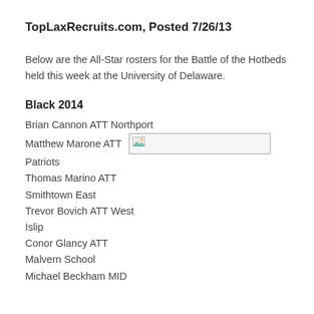TopLaxRecruits.com, Posted 7/26/13
Below are the All-Star rosters for the Battle of the Hotbeds held this week at the University of Delaware.
Black 2014
Brian Cannon ATT Northport
Matthew Marone ATT [broken image]
Patriots
Thomas Marino ATT
Smithtown East
Trevor Bovich ATT West
Islip
Conor Glancy ATT
Malvern School
Michael Beckham MID